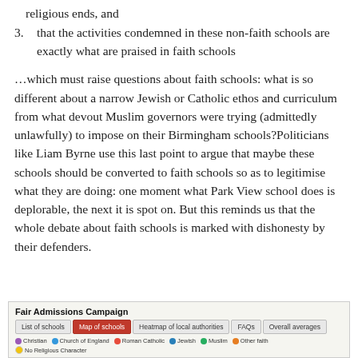religious ends, and
3. that the activities condemned in these non-faith schools are exactly what are praised in faith schools
…which must raise questions about faith schools: what is so different about a narrow Jewish or Catholic ethos and curriculum from what devout Muslim governors were trying (admittedly unlawfully) to impose on their Birmingham schools?Politicians like Liam Byrne use this last point to argue that maybe these schools should be converted to faith schools so as to legitimise what they are doing: one moment what Park View school does is deplorable, the next it is spot on.  But this reminds us that the whole debate about faith schools is marked with dishonesty by their defenders.
[Figure (screenshot): Fair Admissions Campaign widget showing tabs: List of schools, Map of schools (active, red), Heatmap of local authorities, FAQs, Overall averages. Legend dots for Christian, Church of England, Roman Catholic, Jewish, Muslim, Other faith, No Religious Character.]